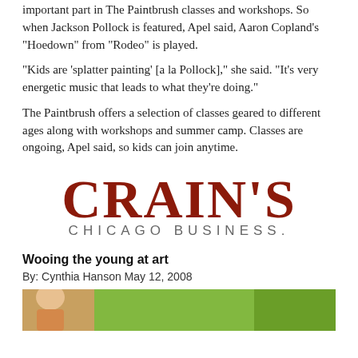important part in The Paintbrush classes and workshops. So when Jackson Pollock is featured, Apel said, Aaron Copland’s “Hoedown” from “Rodeo” is played.
“Kids are ‘splatter painting’ [a la Pollock],” she said. “It’s very energetic music that leads to what they’re doing.”
The Paintbrush offers a selection of classes geared to different ages along with workshops and summer camp. Classes are ongoing, Apel said, so kids can join anytime.
[Figure (logo): Crain’s Chicago Business logo in dark red with serif lettering]
Wooing the young at art
By: Cynthia Hanson May 12, 2008
[Figure (photo): Partial photo of a child with green background]